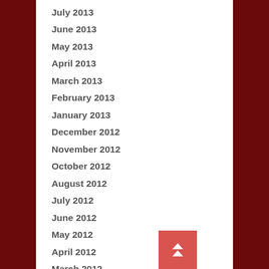July 2013
June 2013
May 2013
April 2013
March 2013
February 2013
January 2013
December 2012
November 2012
October 2012
August 2012
July 2012
June 2012
May 2012
April 2012
March 2012
February 2012
January 2012
December 2011